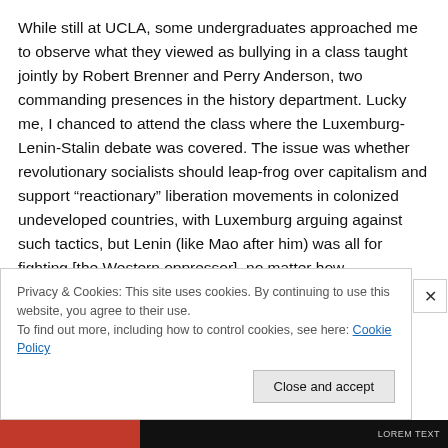While still at UCLA, some undergraduates approached me to observe what they viewed as bullying in a class taught jointly by Robert Brenner and Perry Anderson, two commanding presences in the history department. Lucky me, I chanced to attend the class where the Luxemburg-Lenin-Stalin debate was covered. The issue was whether revolutionary socialists should leap-frog over capitalism and support “reactionary” liberation movements in colonized undeveloped countries, with Luxemburg arguing against such tactics, but Lenin (like Mao after him) was all for fighting [the Western oppressor], no matter how...
Privacy & Cookies: This site uses cookies. By continuing to use this website, you agree to their use. To find out more, including how to control cookies, see here: Cookie Policy